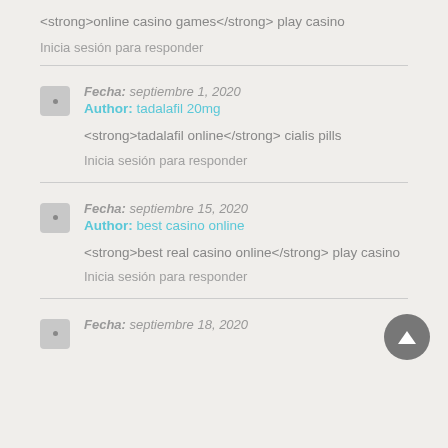<strong>online casino games</strong> play casino
Inicia sesión para responder
Fecha: septiembre 1, 2020
Author: tadalafil 20mg
<strong>tadalafil online</strong> cialis pills
Inicia sesión para responder
Fecha: septiembre 15, 2020
Author: best casino online
<strong>best real casino online</strong> play casino
Inicia sesión para responder
Fecha: septiembre 18, 2020